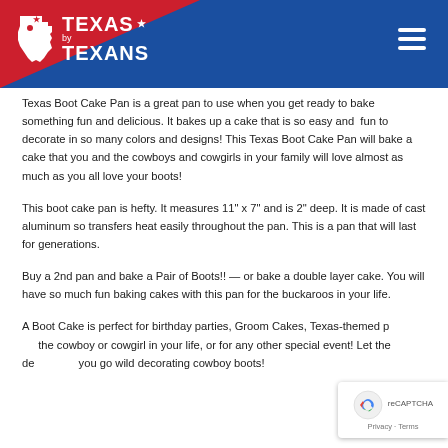[Figure (logo): Texas by Texans logo with Texas state outline icon, white text on red and blue header background, with hamburger menu icon on right]
Texas Boot Cake Pan is a great pan to use when you get ready to bake something fun and delicious. It bakes up a cake that is so easy and fun to decorate in so many colors and designs! This Texas Boot Cake Pan will bake a cake that you and the cowboys and cowgirls in your family will love almost as much as you all love your boots!
This boot cake pan is hefty. It measures 11" x 7" and is 2" deep. It is made of cast aluminum so transfers heat easily throughout the pan. This is a pan that will last for generations.
Buy a 2nd pan and bake a Pair of Boots!! — or bake a double layer cake. You will have so much fun baking cakes with this pan for the buckaroos in your life.
A Boot Cake is perfect for birthday parties, Groom Cakes, Texas-themed parties for the cowboy or cowgirl in your life, or for any other special event! Let the designs go wild decorating cowboy boots!